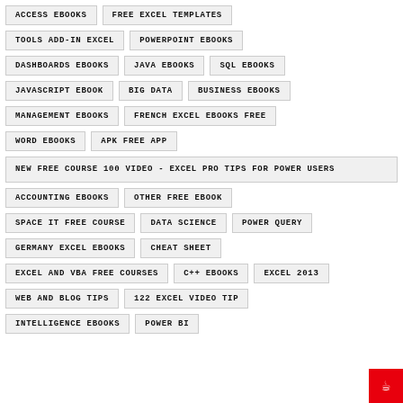ACCESS EBOOKS
FREE EXCEL TEMPLATES
TOOLS ADD-IN EXCEL
POWERPOINT EBOOKS
DASHBOARDS EBOOKS
JAVA EBOOKS
SQL EBOOKS
JAVASCRIPT EBOOK
BIG DATA
BUSINESS EBOOKS
MANAGEMENT EBOOKS
FRENCH EXCEL EBOOKS FREE
WORD EBOOKS
APK FREE APP
NEW FREE COURSE 100 VIDEO - EXCEL PRO TIPS FOR POWER USERS
ACCOUNTING EBOOKS
OTHER FREE EBOOK
SPACE IT FREE COURSE
DATA SCIENCE
POWER QUERY
GERMANY EXCEL EBOOKS
CHEAT SHEET
EXCEL AND VBA FREE COURSES
C++ EBOOKS
EXCEL 2013
WEB AND BLOG TIPS
122 EXCEL VIDEO TIP
INTELLIGENCE EBOOKS
POWER BI